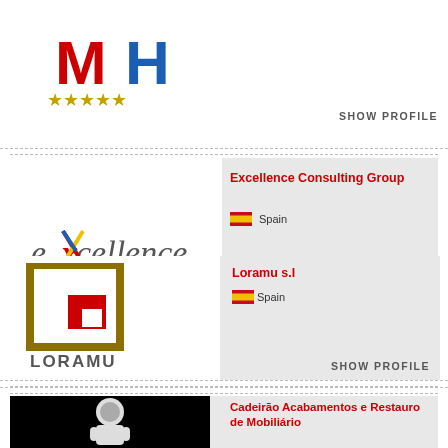[Figure (logo): MH logo with red M and blue H letters with gold stars below]
SHOW PROFILE
[Figure (logo): Excellence Consulting Group logo with colored X mark]
Excellence Consulting Group
Spain
SHOW PROFILE
[Figure (logo): Loramu s.l logo with gold frame and red square icon]
Loramu s.l
Spain
SHOW PROFILE
[Figure (logo): Cadeirão Acabamentos e Restauro de Mobiliário logo with astronaut/figure on black background]
Cadeirão Acabamentos e Restauro de Mobiliário